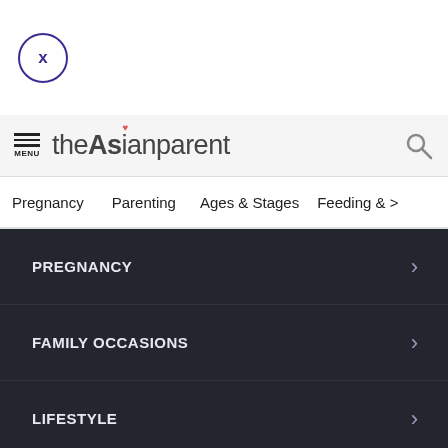[Figure (screenshot): Close button: circle with X in purple/indigo]
theAsianparent — MENU and Search icon header
Pregnancy | Parenting | Ages & Stages | Feeding & >
PREGNANCY >
FAMILY OCCASIONS >
LIFESTYLE >
NORMAL DELIVERY >
Tools | Articles | (center icon) | Feed | Poll
We use cookies to ensure you get the best experience.
Learn More   Ok, Got it